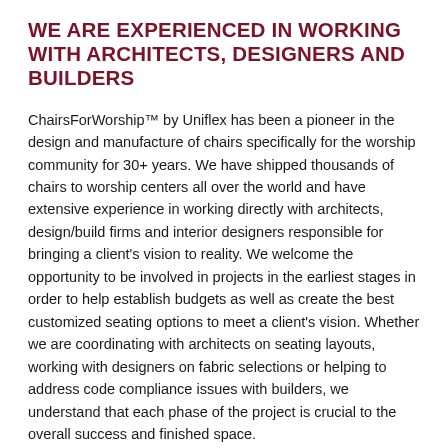WE ARE EXPERIENCED IN WORKING WITH ARCHITECTS, DESIGNERS AND BUILDERS
ChairsForWorship™ by Uniflex has been a pioneer in the design and manufacture of chairs specifically for the worship community for 30+ years. We have shipped thousands of chairs to worship centers all over the world and have extensive experience in working directly with architects, design/build firms and interior designers responsible for bringing a client's vision to reality. We welcome the opportunity to be involved in projects in the earliest stages in order to help establish budgets as well as create the best customized seating options to meet a client's vision. Whether we are coordinating with architects on seating layouts, working with designers on fabric selections or helping to address code compliance issues with builders, we understand that each phase of the project is crucial to the overall success and finished space.